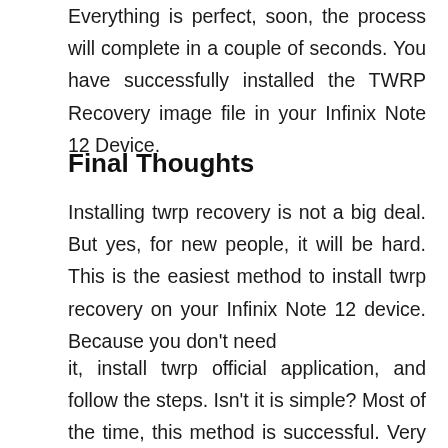Everything is perfect, soon, the process will complete in a couple of seconds. You have successfully installed the TWRP Recovery image file in your Infinix Note 12 Device.
Final Thoughts
Installing twrp recovery is not a big deal. But yes, for new people, it will be hard. This is the easiest method to install twrp recovery on your Infinix Note 12 device. Because you don't need it, install twrp official application, and follow the steps. Isn't it is simple? Most of the time, this method is successful. Very few cases of failure come. But they failed because of the wrong implementation, skipping steps,
[Figure (other): A 'Listen Now' button with a blue play triangle icon and blue oval border]